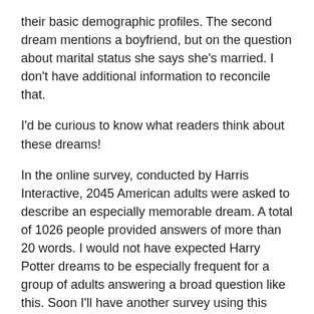their basic demographic profiles.  The second dream mentions a boyfriend, but on the question about marital status she says she's married.  I don't have additional information to reconcile that.
I'd be curious to know what readers think about these dreams!
In the online survey, conducted by Harris Interactive, 2045 American adults were asked to describe an especially memorable dream.  A total of 1026 people provided answers of more than 20 words.   I would not have expected Harry Potter dreams to be especially frequent for a group of adults answering a broad question like this.  Soon I'll have another survey using this same basic question with a group of 8-18-year olds, and I certainly expect to find more HP-themed dreams in that set of data.